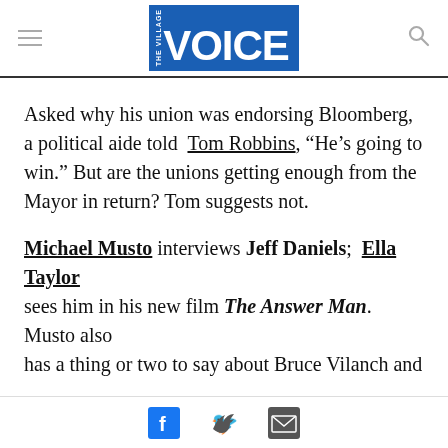the Village VOICE
Asked why his union was endorsing Bloomberg, a political aide told Tom Robbins, “He’s going to win.” But are the unions getting enough from the Mayor in return? Tom suggests not.
Michael Musto interviews Jeff Daniels; Ella Taylor sees him in his new film The Answer Man. Musto also has a thing or two to say about Bruce Vilanch and
Facebook Twitter Email